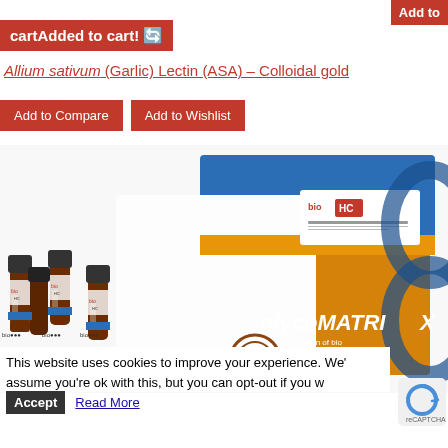Add to
cartAdded to cart!
Allium sativum (Garlic) Lectin (ASA) – Colloidal gold
Add to Compare
Add to Wishlist
[Figure (photo): Product photo showing glycoMATRIX branded box (white, blue and orange/gold) with small brown vials containing reagents, labeled bioscience/HC, 1-800-bioPL visible]
This website uses cookies to improve your experience. We'll assume you're ok with this, but you can opt-out if you w
Accept
Read More